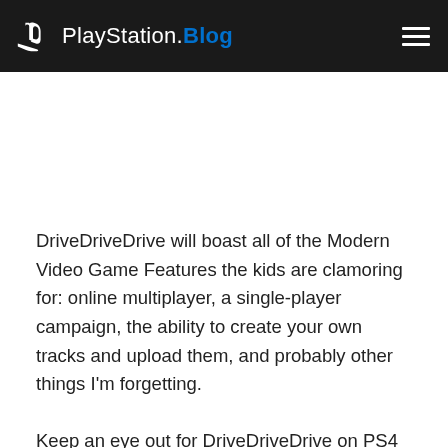PlayStation.Blog
DriveDriveDrive will boast all of the Modern Video Game Features the kids are clamoring for: online multiplayer, a single-player campaign, the ability to create your own tracks and upload them, and probably other things I'm forgetting.
Keep an eye out for DriveDriveDrive on PS4 and PS Vita in 2016!